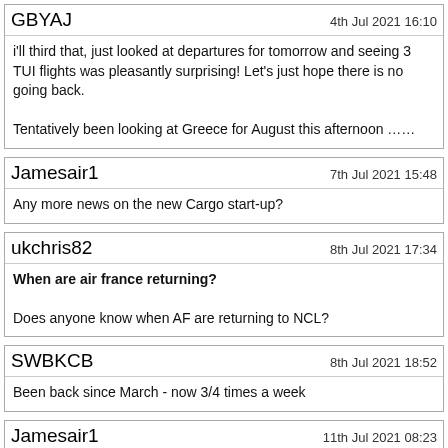GBYAJ — 4th Jul 2021 16:10
i'll third that, just looked at departures for tomorrow and seeing 3 TUI flights was pleasantly surprising! Let's just hope there is no going back.

Tentatively been looking at Greece for August this afternoon ……
Jamesair1 — 7th Jul 2021 15:48
Any more news on the new Cargo start-up?
ukchris82 — 8th Jul 2021 17:34
When are air france returning?
Does anyone know when AF are returning to NCL?
SWBKCB — 8th Jul 2021 18:52
Been back since March - now 3/4 times a week
Jamesair1 — 11th Jul 2021 08:23
Has anyone heard any rumours of IBERIA EXPRESS returning to NCL after the long wait from last year? I'd love to see Nice/Madrid.